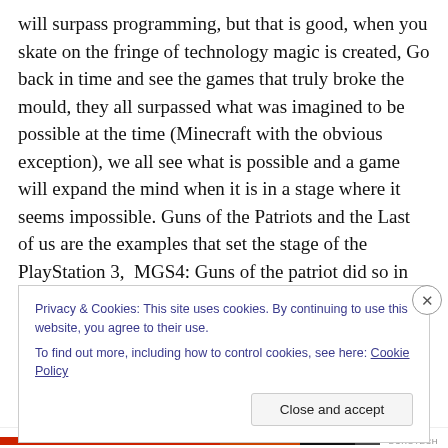will surpass programming, but that is good, when you skate on the fringe of technology magic is created, Go back in time and see the games that truly broke the mould, they all surpassed what was imagined to be possible at the time (Minecraft with the obvious exception), we all see what is possible and a game will expand the mind when it is in a stage where it seems impossible. Guns of the Patriots and the Last of us are the examples that set the stage of the PlayStation 3, MGS4: Guns of the patriot did so in the beginning of the console and set unparalleled borders with several critics giving the game a 100% rating,
Privacy & Cookies: This site uses cookies. By continuing to use this website, you agree to their use. To find out more, including how to control cookies, see here: Cookie Policy
Close and accept